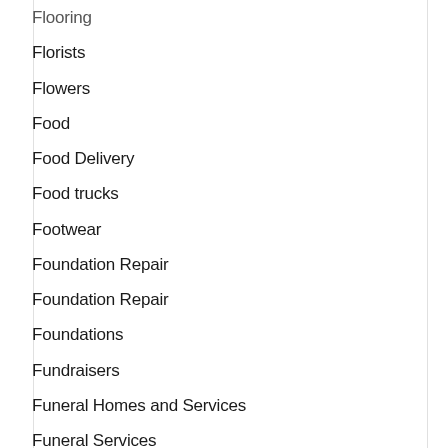Flooring
Florists
Flowers
Food
Food Delivery
Food trucks
Footwear
Foundation Repair
Foundation Repair
Foundations
Fundraisers
Funeral Homes and Services
Funeral Services
Furniture
Gadget Accessory Stores
Garage Floors